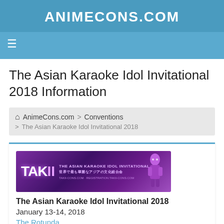AnimeCons.com
The Asian Karaoke Idol Invitational 2018 Information
AnimeCons.com > Conventions > The Asian Karaoke Idol Invitational 2018
[Figure (illustration): TAKII – The Asian Karaoke Idol Invitational promotional banner with purple theme and anime character]
The Asian Karaoke Idol Invitational 2018
January 13-14, 2018
The Rotunda
Philadelphia, PA
Convention with Anime and Video Gaming programming